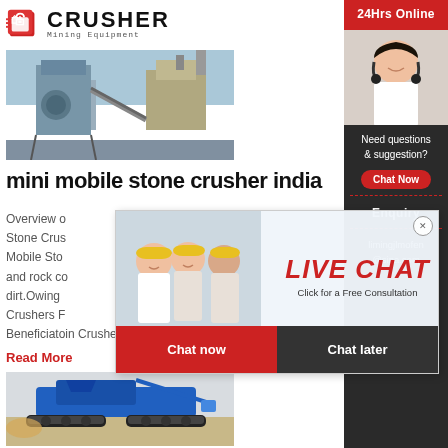[Figure (logo): Crusher Mining Equipment logo with red shopping bag icon and bold CRUSHER text]
[Figure (photo): Industrial stone crusher plant with blue/grey equipment and scaffolding]
mini mobile stone crusher india
Overview of Mobile Stone Crusher Mobile Stone and rock crusher dirt.Owing Crushers Fo Beneficiatoin Crusher
Read More
[Figure (photo): Blue mobile stone crusher machine on tracks in sandy terrain]
[Figure (photo): Live Chat popup with workers in hard hats, LIVE CHAT button, Chat now and Chat later buttons]
[Figure (photo): Right sidebar with 24Hrs Online, customer service agent photo, Need questions & suggestion, Chat Now button, Enquiry, limingjlmofen@sina.com]